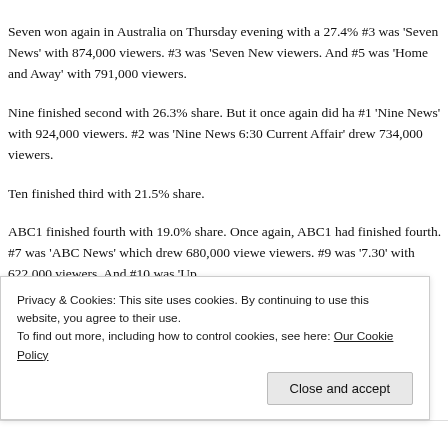[Figure (photo): Partial image strip at top right with red, blue and grey colors]
Seven won again in Australia on Thursday evening with a 27.4% #3 was ‘Seven News’ with 874,000 viewers. #3 was ‘Seven News viewers. And #5 was ‘Home and Away’ with 791,000 viewers.
Nine finished second with 26.3% share. But it once again did ha #1 ‘Nine News’ with 924,000 viewers. #2 was ‘Nine News 6:30 Current Affair’ drew 734,000 viewers.
Ten finished third with 21.5% share.
ABC1 finished fourth with 19.0% share. Once again, ABC1 had finished fourth. #7 was ‘ABC News’ which drew 680,000 viewers viewers. #9 was ‘7.30’ with 622,000 viewers. And #10 was ‘Up
Privacy & Cookies: This site uses cookies. By continuing to use this website, you agree to their use.
To find out more, including how to control cookies, see here: Our Cookie Policy
Close and accept